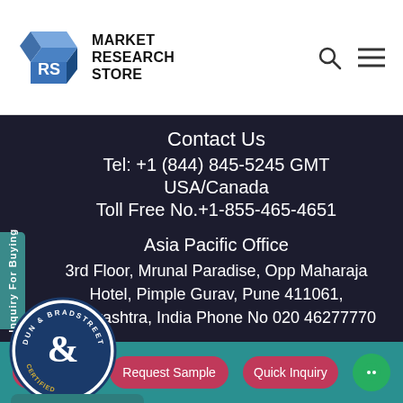[Figure (logo): Market Research Store logo with geometric RS cube icon and bold text MARKET RESEARCH STORE]
Contact Us
Tel: +1 (844) 845-5245 GMT USA/Canada
Toll Free No.+1-855-465-4651

Asia Pacific Office
3rd Floor, Mrunal Paradise, Opp Maharaja Hotel, Pimple Gurav, Pune 411061, Maharashtra, India Phone No 020 46277770
s to offer you a better browsing experience, tent and ads, to provide social media features and to analyse our traffic.
Buy Now   Request Sample   Quick Inquiry